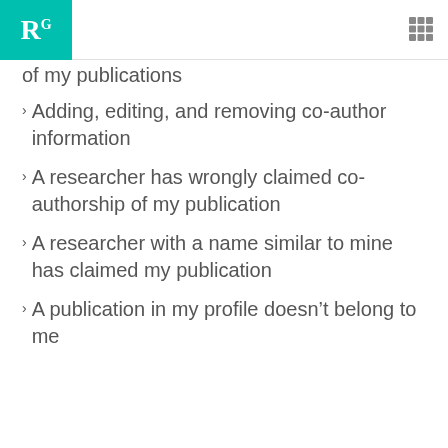RG
of my publications
Adding, editing, and removing co-author information
A researcher has wrongly claimed co-authorship of my publication
A researcher with a name similar to mine has claimed my publication
A publication in my profile doesn't belong to me